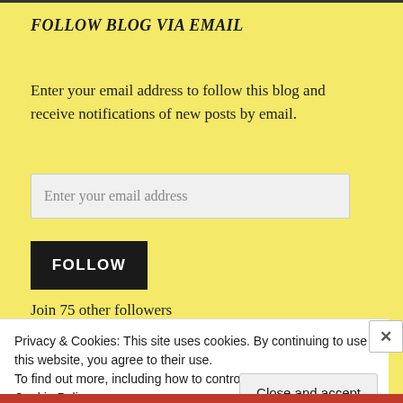FOLLOW BLOG VIA EMAIL
Enter your email address to follow this blog and receive notifications of new posts by email.
Enter your email address
FOLLOW
Join 75 other followers
Privacy & Cookies: This site uses cookies. By continuing to use this website, you agree to their use.
To find out more, including how to control cookies, see here: Cookie Policy
Close and accept